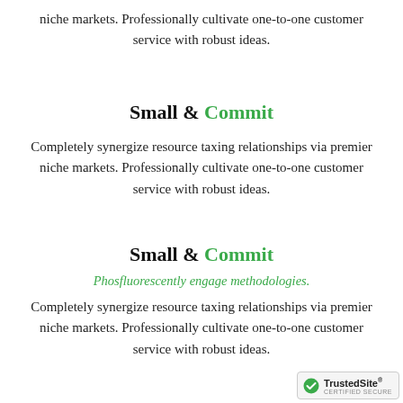niche markets. Professionally cultivate one-to-one customer service with robust ideas.
Small & Commit
Completely synergize resource taxing relationships via premier niche markets. Professionally cultivate one-to-one customer service with robust ideas.
Small & Commit
Phosfluorescently engage methodologies.
Completely synergize resource taxing relationships via premier niche markets. Professionally cultivate one-to-one customer service with robust ideas.